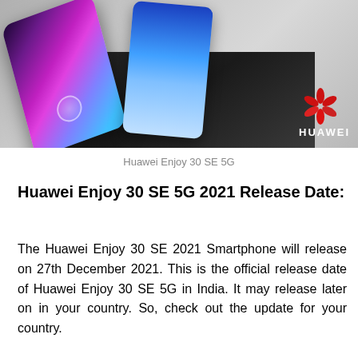[Figure (photo): Product photo of the Huawei Enjoy 30 SE 5G smartphone displayed on a dark platform/stand, showing its colorful gradient display. The Huawei logo appears in the bottom-right corner of the image.]
Huawei Enjoy 30 SE 5G
Huawei Enjoy 30 SE 5G 2021 Release Date:
The Huawei Enjoy 30 SE 2021 Smartphone will release on 27th December 2021. This is the official release date of Huawei Enjoy 30 SE 5G in India. It may release later on in your country. So, check out the update for your country.